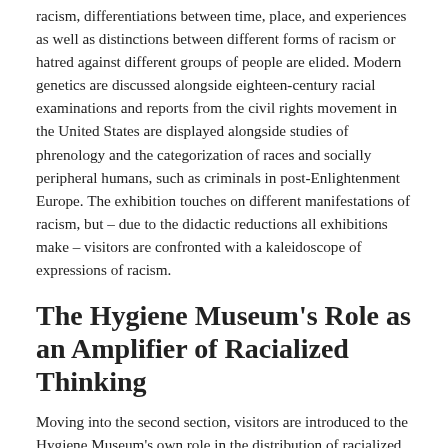racism, differentiations between time, place, and experiences as well as distinctions between different forms of racism or hatred against different groups of people are elided. Modern genetics are discussed alongside eighteen-century racial examinations and reports from the civil rights movement in the United States are displayed alongside studies of phrenology and the categorization of races and socially peripheral humans, such as criminals in post-Enlightenment Europe. The exhibition touches on different manifestations of racism, but – due to the didactic reductions all exhibitions make – visitors are confronted with a kaleidoscope of expressions of racism.
The Hygiene Museum's Role as an Amplifier of Racialized Thinking
Moving into the second section, visitors are introduced to the Hygiene Museum's own role in the distribution of racialized thinking, which is contextualized through the inclusion of other exhibitions also held during the Nazi period in Dresden. The current director of the Hygiene Museum, Klaus Vogel, acknowledges that through the 'Racism' exhibition the institution is attempting to deal with its own "contaminated past" – a past which cannot be circumvented. It is the museum's first self-critical exhibition wherein it addresses its own racist past.